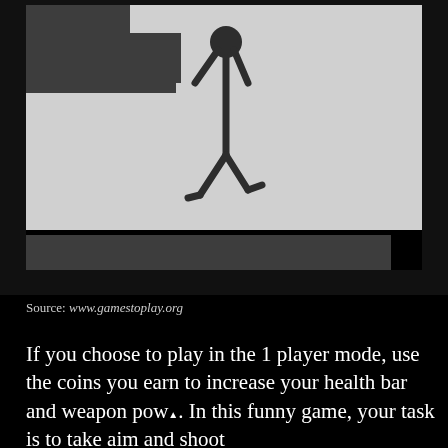[Figure (illustration): A stick figure character hanging from a ledge in a platform game. The background is light gray with dark gray platform blocks. The stick figure is dark/black colored, hanging by its hands from the upper edge of a platform block on the left side.]
Source: www.gamestoplay.org
If you choose to play in the 1 player mode, use the coins you earn to increase your health bar and weapon power. In this funny game, your task is to take aim and shoot